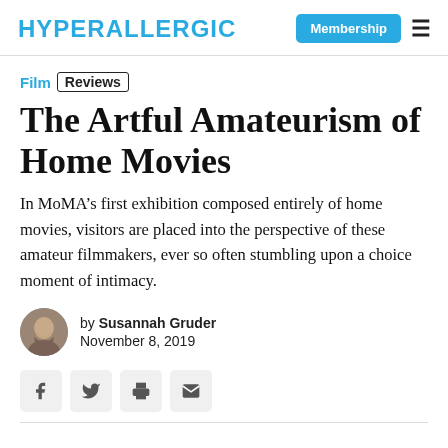HYPERALLERGIC
Film | Reviews
The Artful Amateurism of Home Movies
In MoMA’s first exhibition composed entirely of home movies, visitors are placed into the perspective of these amateur filmmakers, ever so often stumbling upon a choice moment of intimacy.
by Susannah Gruder
November 8, 2019